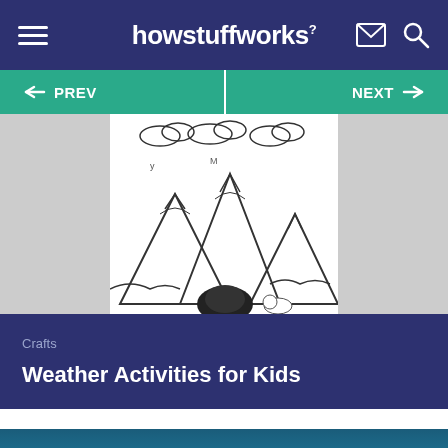howstuffworks²
[Figure (screenshot): Navigation bar with PREV and NEXT buttons on teal background]
[Figure (illustration): Black and white line drawing of mountains and clouds landscape]
Crafts
Weather Activities for Kids
[Figure (other): HowStuffWorks newsletter sign-up advertisement banner with Sign Up button]